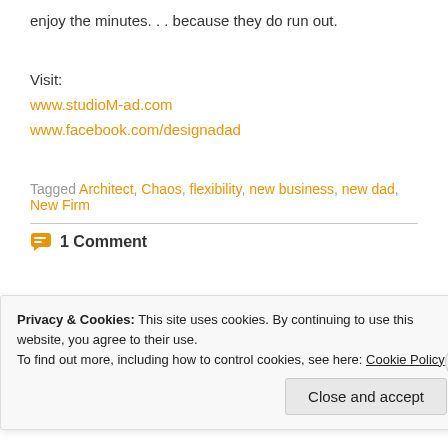enjoy the minutes. . . because they do run out.
Visit:
www.studioM-ad.com
www.facebook.com/designadad
Tagged Architect, Chaos, flexibility, new business, new dad, New Firm
1 Comment
November 29, 2013
Privacy & Cookies: This site uses cookies. By continuing to use this website, you agree to their use.
To find out more, including how to control cookies, see here: Cookie Policy
Close and accept